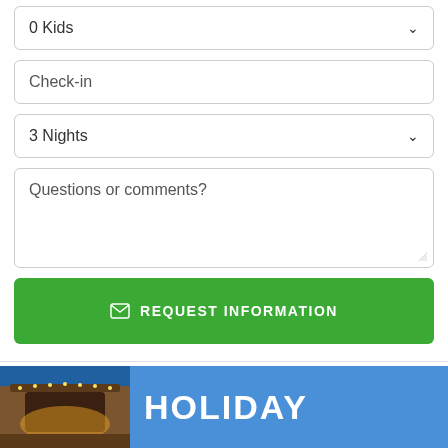0 Kids
Check-in
3 Nights
Questions or comments?
REQUEST INFORMATION
[Figure (photo): Partial view of a building with warm lighting at bottom of page, alongside a blue banner with the word HOLIDAY]
HOLIDAY